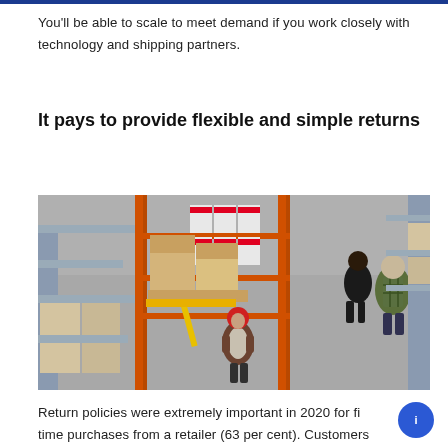You'll be able to scale to meet demand if you work closely with technology and shipping partners.
It pays to provide flexible and simple returns
[Figure (photo): Aerial view of a warehouse interior showing workers among metal shelving racks stocked with boxes and products. One worker in a red hard hat is pulling a pallet jack loaded with cardboard boxes, while two other workers stand near shelving units on the right side.]
Return policies were extremely important in 2020 for first time purchases from a retailer (63 per cent). Customers